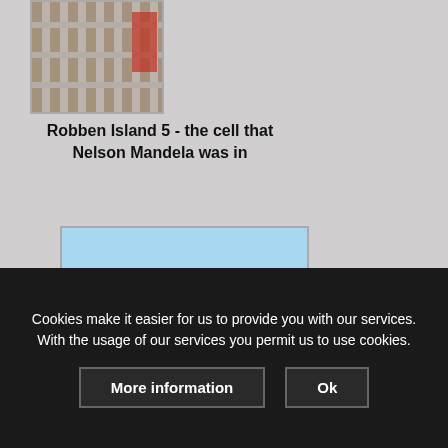[Figure (photo): Photo of prison cell bars, Robben Island]
Robben Island 5 - the cell that Nelson Mandela was in
[Figure (photo): Photo of Robben Island seen from the water, with blue sky and ocean in foreground]
Cookies make it easier for us to provide you with our services. With the usage of our services you permit us to use cookies.
More information
Ok